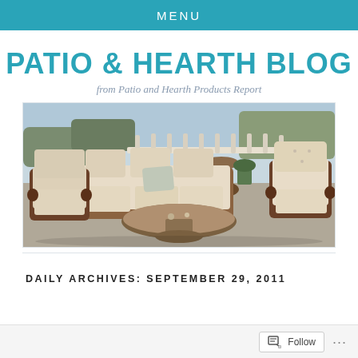MENU
PATIO & HEARTH BLOG
from Patio and Hearth Products Report
[Figure (photo): Outdoor wicker patio furniture set with beige cushions including a sofa, armchairs, and a coffee table on a stone patio with a pool and garden in the background.]
DAILY ARCHIVES: SEPTEMBER 29, 2011
Follow ...